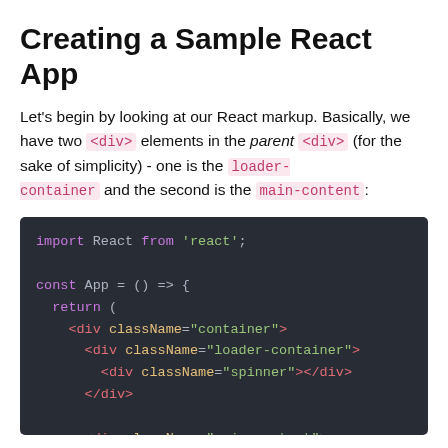Creating a Sample React App
Let's begin by looking at our React markup. Basically, we have two <div> elements in the parent <div> (for the sake of simplicity) - one is the loader-container and the second is the main-content:
[Figure (screenshot): Dark-themed code block showing React JSX code: import React from 'react'; const App = () => { return ( <div className="container"> <div className="loader-container"> <div className="spinner"></div> </div> <div className="main-content">]